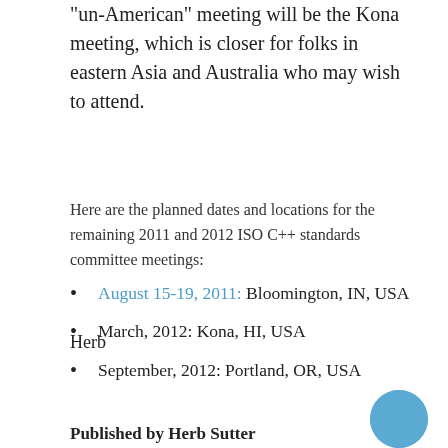“un-American” meeting will be the Kona meeting, which is closer for folks in eastern Asia and Australia who may wish to attend.
Here are the planned dates and locations for the remaining 2011 and 2012 ISO C++ standards committee meetings:
August 15-19, 2011: Bloomington, IN, USA
March, 2012: Kona, HI, USA
September, 2012: Portland, OR, USA
Herb
Published by Herb Sutter